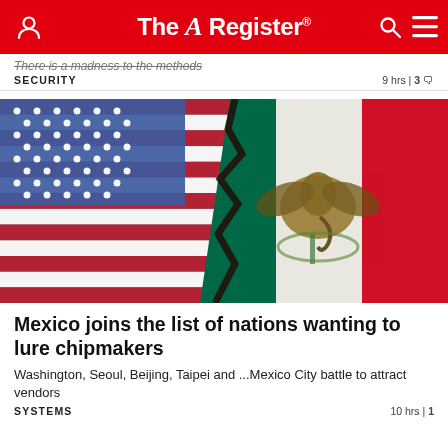The Register
There is a madness to the methods
SECURITY   9 hrs | 3
[Figure (photo): Cracked wall showing the US flag on the left side and the Mexican flag on the right side, symbolizing tension or fracture between the two nations.]
Mexico joins the list of nations wanting to lure chipmakers
Washington, Seoul, Beijing, Taipei and ...Mexico City battle to attract vendors
SYSTEMS   10 hrs | 1